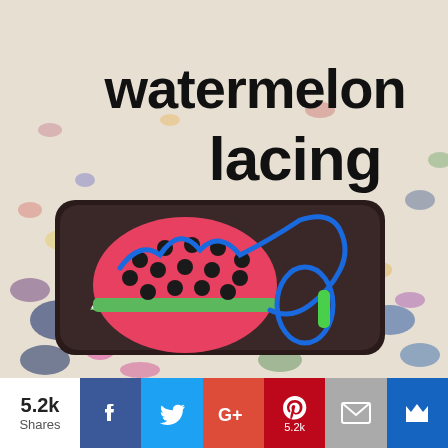[Figure (photo): Photo of a watermelon lacing toy (a foam watermelon slice with holes and a blue lace, inside a dark tray) on a colorful patterned carpet, with the text 'watermelon lacing' overlaid in large black handwritten-style font.]
5.2k
Shares
[Figure (infographic): Social sharing bar with Facebook, Twitter, Google+, Pinterest (5.2k), Email, and crown/bookmark icons on colored background buttons.]